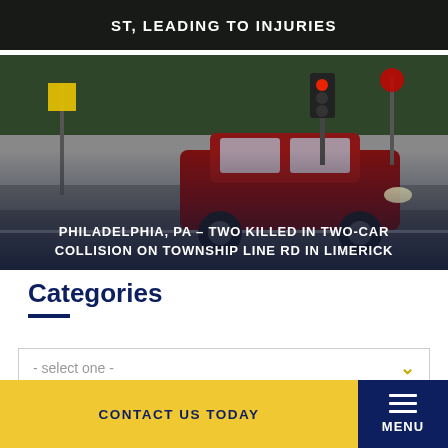[Figure (photo): Partial top strip of a dark scene with text overlay reading 'ST, LEADING TO INJURIES' in white uppercase letters]
[Figure (photo): Photo of a red SUV (Lexus) driving on a city street with traffic lights and signs in the background. White uppercase text overlay reads: PHILADELPHIA, PA – TWO KILLED IN TWO-CAR COLLISION ON TOWNSHIP LINE RD IN LIMERICK]
Categories
- select one -
CONTACT US TODAY
MENU